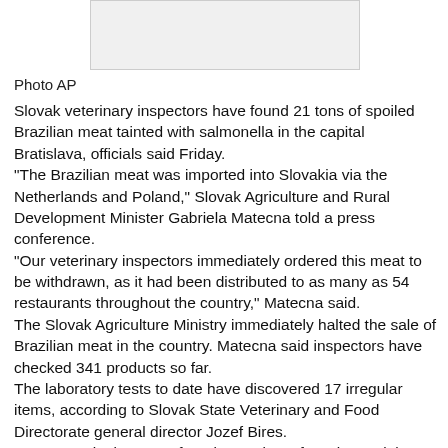[Figure (photo): Photograph placeholder box (AP photo, partially visible at top of page)]
Photo AP
Slovak veterinary inspectors have found 21 tons of spoiled Brazilian meat tainted with salmonella in the capital Bratislava, officials said Friday. "The Brazilian meat was imported into Slovakia via the Netherlands and Poland," Slovak Agriculture and Rural Development Minister Gabriela Matecna told a press conference. "Our veterinary inspectors immediately ordered this meat to be withdrawn, as it had been distributed to as many as 54 restaurants throughout the country," Matecna said. The Slovak Agriculture Ministry immediately halted the sale of Brazilian meat in the country. Matecna said inspectors have checked 341 products so far. The laboratory tests to date have discovered 17 irregular items, according to Slovak State Veterinary and Food Directorate general director Jozef Bires. "We're continuing to perform inspections, focusing mainly on entities with warehouses that are engaged in relatively large-scale trade in this commodity, supplying it to restaurants and